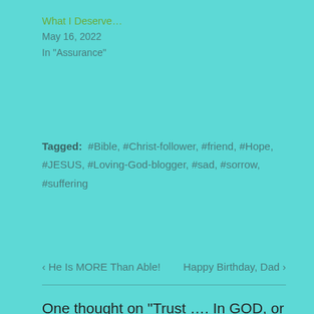What I Deserve…
May 16, 2022
In "Assurance"
Tagged: #Bible, #Christ-follower, #friend, #Hope, #JESUS, #Loving-God-blogger, #sad, #sorrow, #suffering
‹ He Is MORE Than Able!    Happy Birthday, Dad ›
One thought on "Trust …. In GOD, or Man?"
isaiah46ministries